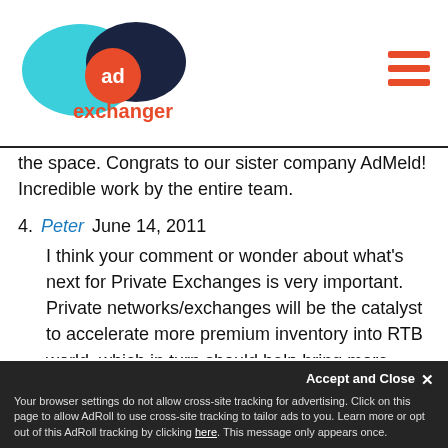AdExchanger logo and navigation
the space. Congrats to our sister company AdMeld! Incredible work by the entire team.
4. Peter June 14, 2011 — I think your comment or wonder about what's next for Private Exchanges is very important. Private networks/exchanges will be the catalyst to accelerate more premium inventory into RTB world, which in turn should help bring more premium advertisers to the RTB world. Agree with Jerry, we'll all continue to compete with googleplex in one way or another, but they do not yet dominate, as many startups continue to carve out and create applications and solutions purposely provide an end to end solution like...
Accept and Close ✕ Your browser settings do not allow cross-site tracking for advertising. Click on this page to allow AdRoll to use cross-site tracking to tailor ads to you. Learn more or opt out of this AdRoll tracking by clicking here. This message only appears once.